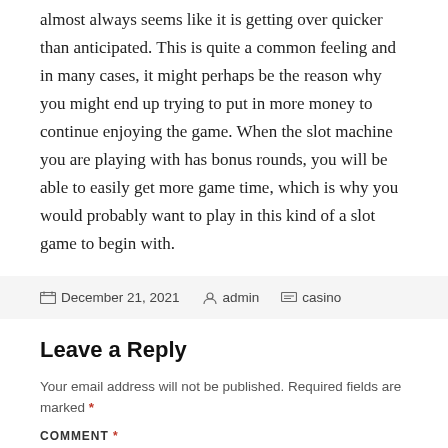almost always seems like it is getting over quicker than anticipated. This is quite a common feeling and in many cases, it might perhaps be the reason why you might end up trying to put in more money to continue enjoying the game. When the slot machine you are playing with has bonus rounds, you will be able to easily get more game time, which is why you would probably want to play in this kind of a slot game to begin with.
December 21, 2021  admin  casino
Leave a Reply
Your email address will not be published. Required fields are marked *
COMMENT *